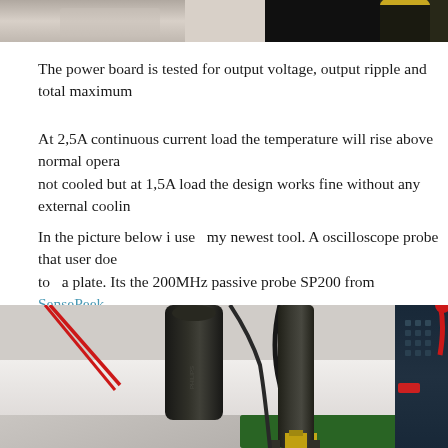[Figure (photo): Top portion of a laboratory photo showing electronic test equipment on a bench, partially cropped at top of page]
The power board is tested for output voltage, output ripple and total maximum current load.
At 2,5A continuous current load the temperature will rise above normal operating temperature if not cooled but at 1,5A load the design works fine without any external cooling.
In the picture below i use  my newest tool. A oscilloscope probe that user does not need to solder to  a plate. Its the 200MHz passive probe SP200 from SensePeek.
[Figure (photo): Laboratory workbench photo showing oscilloscope probe SP200 standing upright on a circuit board, with test equipment in the background including a black cylindrical device, red probe wires, and blue/gray instruments]